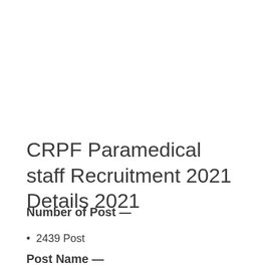CRPF Paramedical staff Recruitment 2021 Details 2021
Number of Post —
2439 Post
Post Name —